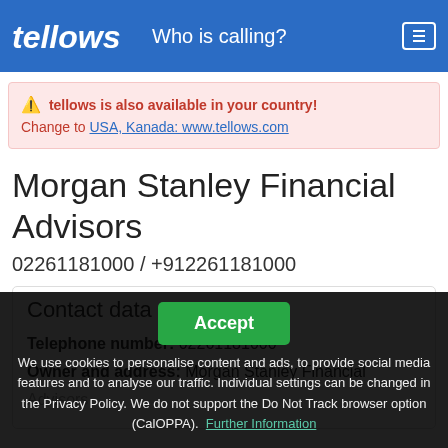tellows  Who is calling?
tellows is also available in your country! Change to USA, Kanada: www.tellows.com
Morgan Stanley Financial Advisors
02261181000 / +912261181000
Contact data
Telephone number: 02261181000
Owner and address: Morgan Stanley Financial Advisors
We use cookies to personalise content and ads, to provide social media features and to analyse our traffic. Individual settings can be changed in the Privacy Policy. We do not support the Do Not Track browser option (CalOPPA). Further Information